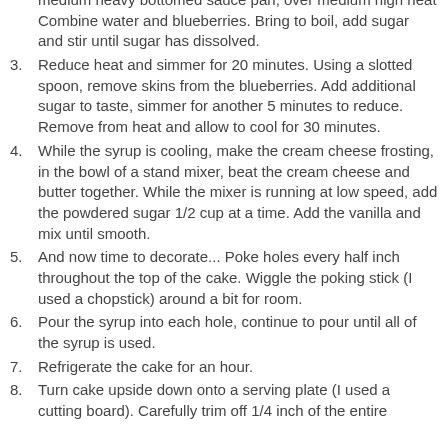medium heavy bottomed sauce pan, over medium high heat Combine water and blueberries. Bring to boil, add sugar and stir until sugar has dissolved.
3. Reduce heat and simmer for 20 minutes. Using a slotted spoon, remove skins from the blueberries. Add additional sugar to taste, simmer for another 5 minutes to reduce. Remove from heat and allow to cool for 30 minutes.
4. While the syrup is cooling, make the cream cheese frosting, in the bowl of a stand mixer, beat the cream cheese and butter together. While the mixer is running at low speed, add the powdered sugar 1/2 cup at a time. Add the vanilla and mix until smooth.
5. And now time to decorate... Poke holes every half inch throughout the top of the cake. Wiggle the poking stick (I used a chopstick) around a bit for room.
6. Pour the syrup into each hole, continue to pour until all of the syrup is used.
7. Refrigerate the cake for an hour.
8. Turn cake upside down onto a serving plate (I used a cutting board). Carefully trim off 1/4 inch of the entire